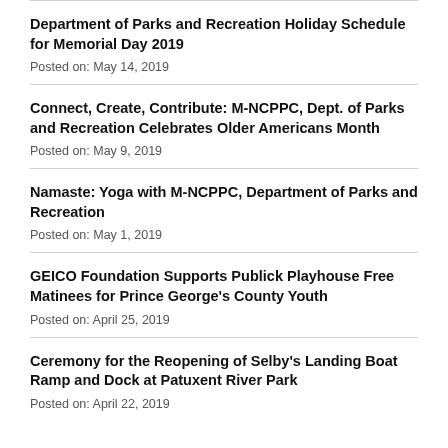Department of Parks and Recreation Holiday Schedule for Memorial Day 2019
Posted on: May 14, 2019
Connect, Create, Contribute: M-NCPPC, Dept. of Parks and Recreation Celebrates Older Americans Month
Posted on: May 9, 2019
Namaste: Yoga with M-NCPPC, Department of Parks and Recreation
Posted on: May 1, 2019
GEICO Foundation Supports Publick Playhouse Free Matinees for Prince George's County Youth
Posted on: April 25, 2019
Ceremony for the Reopening of Selby's Landing Boat Ramp and Dock at Patuxent River Park
Posted on: April 22, 2019